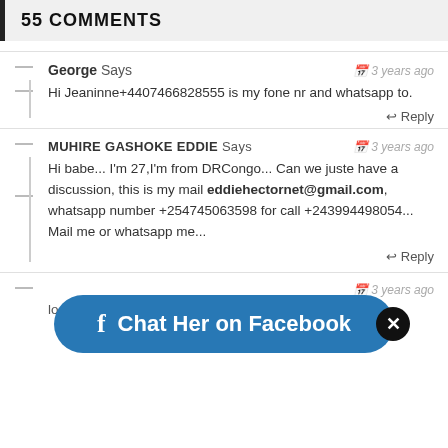55 COMMENTS
George Says  🗓 3 years ago
Hi Jeaninne+4407466828555 is my fone nr and whatsapp to.
Reply
MUHIRE GASHOKE EDDIE Says  🗓 3 years ago
Hi babe... I'm 27,I'm from DRCongo... Can we juste have a discussion, this is my mail eddiehectornet@gmail.com, whatsapp number +254745063598 for call +243994498054... Mail me or whatsapp me...
Reply
[Figure (other): Facebook Chat button with close X circle, text: Chat Her on Facebook]
3 years ago
looking nice and more than beautiful